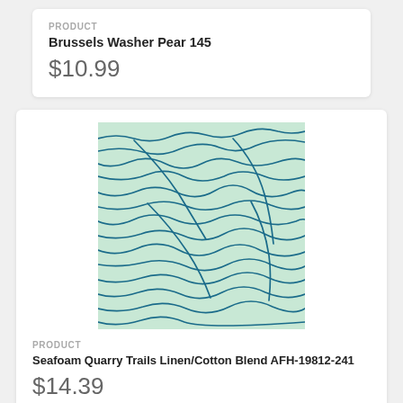PRODUCT
Brussels Washer Pear 145
$10.99
[Figure (photo): Fabric swatch showing a seafoam/mint green base with blue wavy line pattern resembling topographic contours or water waves.]
PRODUCT
Seafoam Quarry Trails Linen/Cotton Blend AFH-19812-241
$14.39